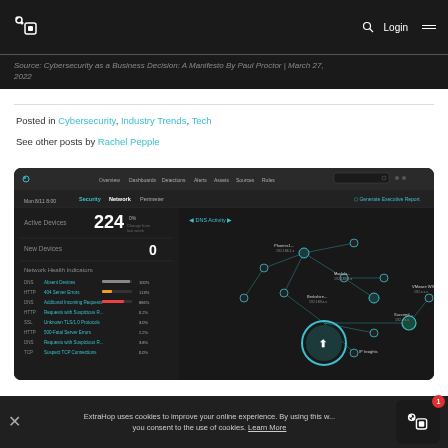ExtraHop logo, Search, Login, Menu
Source: Cybersecurity as a Business Decision: A Manifesto By Paul Proctor | March 27, 2022
Posted in Cybersecurity, Industry Trends, Tech
See other posts by Rachel Pepple
[Figure (screenshot): Dark-themed network security dashboard screenshot showing Active Devices: 224, New Devices: 0, Network Health Indicators table, and a network topology map with connected nodes]
ExtraHop uses cookies to improve your online experience. By using this w... you consent to the use of cookies. Learn More